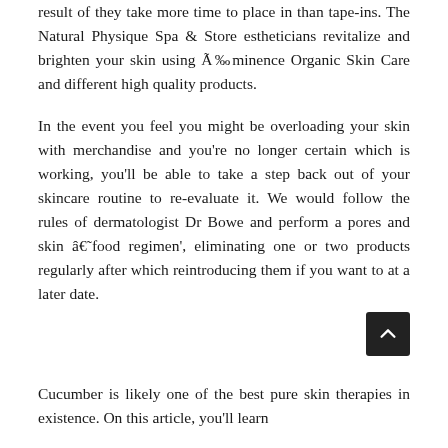result of they take more time to place in than tape-ins. The Natural Physique Spa & Store estheticians revitalize and brighten your skin using Ã‰minence Organic Skin Care and different high quality products.
In the event you feel you might be overloading your skin with merchandise and you're no longer certain which is working, you'll be able to take a step back out of your skincare routine to re-evaluate it. We would follow the rules of dermatologist Dr Bowe and perform a pores and skin â€˜food regimen', eliminating one or two products regularly after which reintroducing them if you want to at a later date.
Cucumber is likely one of the best pure skin therapies in existence. On this article, you'll learn